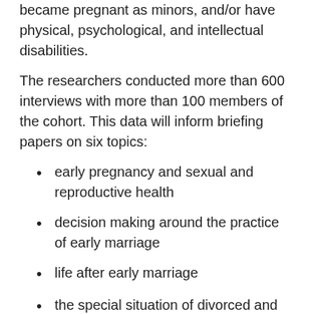became pregnant as minors, and/or have physical, psychological, and intellectual disabilities.
The researchers conducted more than 600 interviews with more than 100 members of the cohort. This data will inform briefing papers on six topics:
early pregnancy and sexual and reproductive health
decision making around the practice of early marriage
life after early marriage
the special situation of divorced and widowed female youth
mental health and psychological support, displacement, and early marriage
education, displacement, and early marriage
Each paper provides cross-sectoral, concrete recommendations for humanitarian organizations seeking